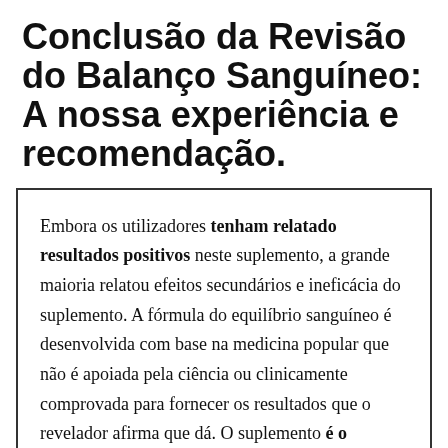Conclusão da Revisão do Balanço Sanguíneo: A nossa experiência e recomendação.
Embora os utilizadores tenham relatado resultados positivos neste suplemento, a grande maioria relatou efeitos secundários e ineficácia do suplemento. A fórmula do equilíbrio sanguíneo é desenvolvida com base na medicina popular que não é apoiada pela ciência ou clinicamente comprovada para fornecer os resultados que o revelador afirma que dá. O suplemento é o equivalente a um "comprimido mágico" com alegações de promover a perda de peso